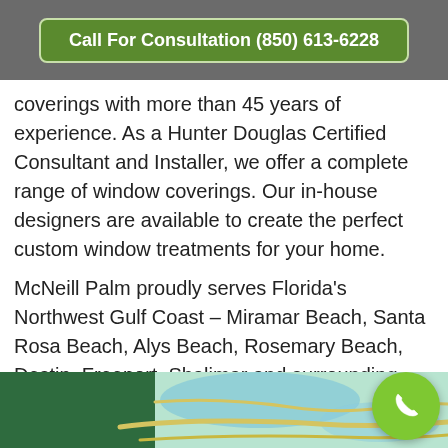Call For Consultation (850) 613-6228
coverings with more than 45 years of experience. As a Hunter Douglas Certified Consultant and Installer, we offer a complete range of window coverings. Our in-house designers are available to create the perfect custom window treatments for your home.
McNeill Palm proudly serves Florida's Northwest Gulf Coast – Miramar Beach, Santa Rosa Beach, Alys Beach, Rosemary Beach, Destin, Freeport, Shalimar and surrounding areas.
[Figure (map): Map showing the Northwest Gulf Coast of Florida area including Miramar Beach and surrounding regions]